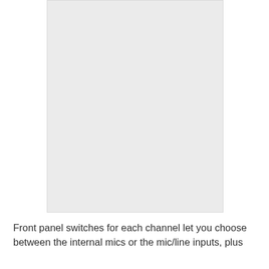[Figure (photo): Large light gray rectangular placeholder image, likely showing a device or front panel of audio equipment]
Front panel switches for each channel let you choose between the internal mics or the mic/line inputs, plus